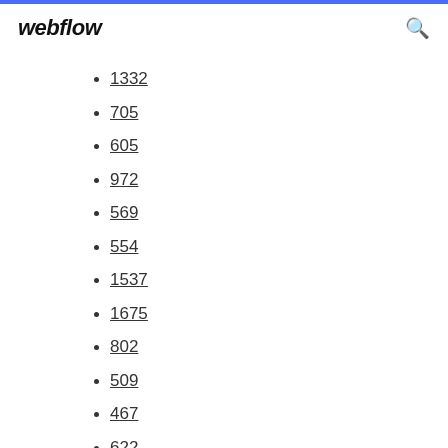webflow
1332
705
605
972
569
554
1537
1675
802
509
467
622